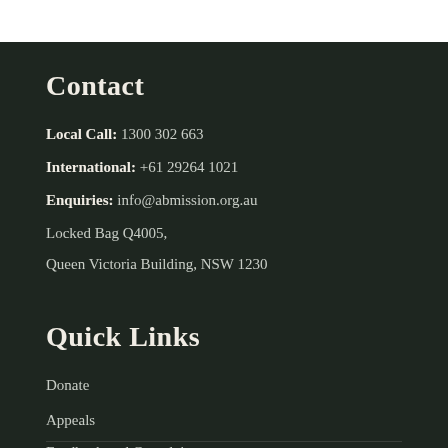Contact
Local Call: 1300 302 663
International: +61 29264 1021
Enquiries: info@abmission.org.au
Locked Bag Q4005,
Queen Victoria Building, NSW 1230
Quick Links
Donate
Appeals
Feedback and Complaints